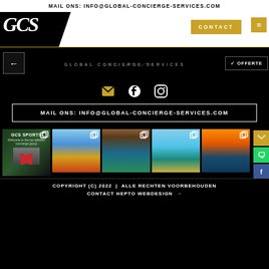MAIL ONS: INFO@GLOBAL-CONCIERGE-SERVICES.COM
[Figure (logo): GCS (Global Concierge Services) navigation header with logo, CONTACT button, and hamburger menu on white/black background]
[Figure (logo): Sub-header with back arrow, large GCS watermark, GLOBAL CONCIERGE SERVICES text, and OFFERTE button]
[Figure (infographic): Social media icons row: envelope (email), Facebook, Instagram in gold/white on black background]
MAIL ONS: INFO@GLOBAL-CONCIERGE-SERVICES.COM
[Figure (photo): Row of 5 Instagram thumbnail images: GCS Sports promo, seaplane on water, luxury pool/patio, Ibiza coastline, marina at sunset. Each has a copy/share icon overlay.]
COPYRIGHT (C) 2022  |  ALLE RECHTEN VOORBEHOUDEN
CONTACT HEPTO WEBDESIGN →